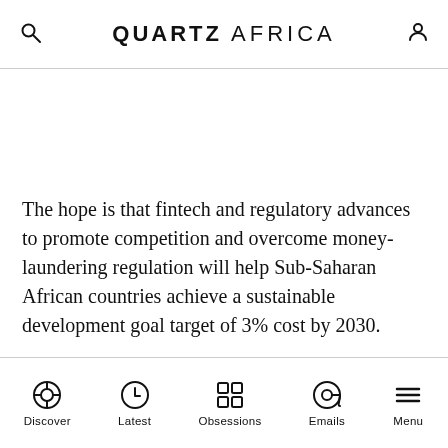QUARTZ AFRICA
The hope is that fintech and regulatory advances to promote competition and overcome money-laundering regulation will help Sub-Saharan African countries achieve a sustainable development goal target of 3% cost by 2030.
Discover | Latest | Obsessions | Emails | Menu